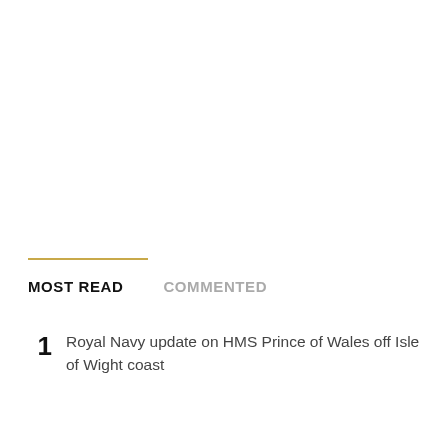MOST READ   COMMENTED
1  Royal Navy update on HMS Prince of Wales off Isle of Wight coast